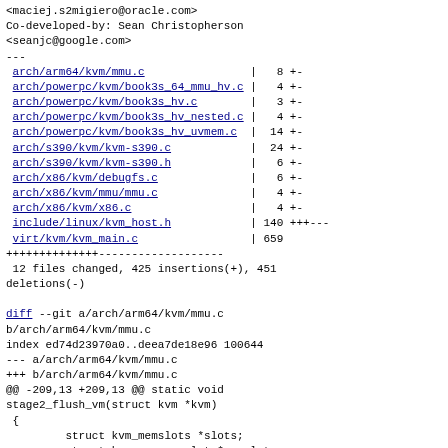<maciej.s2migiero@oracle.com>
Co-developed-by: Sean Christopherson
<seanjc@google.com>
---
 arch/arm64/kvm/mmu.c                |   8 +-
 arch/powerpc/kvm/book3s_64_mmu_hv.c |   4 +-
 arch/powerpc/kvm/book3s_hv.c        |   3 +-
 arch/powerpc/kvm/book3s_hv_nested.c |   4 +-
 arch/powerpc/kvm/book3s_hv_uvmem.c  |  14 +-
 arch/s390/kvm/kvm-s390.c            |  24 +-
 arch/s390/kvm/kvm-s390.h            |   6 +-
 arch/x86/kvm/debugfs.c              |   6 +-
 arch/x86/kvm/mmu/mmu.c              |   4 +-
 arch/x86/kvm/x86.c                  |   4 +-
 include/linux/kvm_host.h            | 140 +++---
 virt/kvm/kvm_main.c                 | 659
++++++++++++++-------------------
 12 files changed, 425 insertions(+), 451 deletions(-)
diff --git a/arch/arm64/kvm/mmu.c b/arch/arm64/kvm/mmu.c
index ed74d23970a0..deea7de18e96 100644
--- a/arch/arm64/kvm/mmu.c
+++ b/arch/arm64/kvm/mmu.c
@@ -209,13 +209,13 @@ static void stage2_flush_vm(struct kvm *kvm)
 {
         struct kvm_memslots *slots;
         struct kvm_memory_slot *memslot;